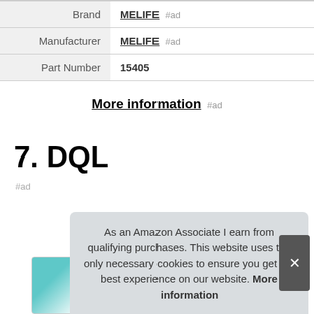|  |  |
| --- | --- |
| Brand | MELIFE #ad |
| Manufacturer | MELIFE #ad |
| Part Number | 15405 |
More information #ad
7. DQL
#ad
As an Amazon Associate I earn from qualifying purchases. This website uses the only necessary cookies to ensure you get the best experience on our website. More information